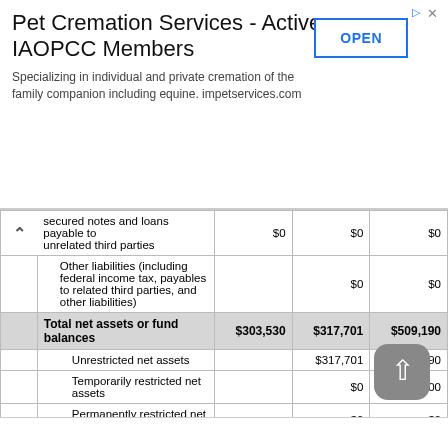[Figure (other): Advertisement banner for Pet Cremation Services - Active IAOPCC Members with OPEN button]
|  |  | Col1 | Col2 | Col3 |
| --- | --- | --- | --- | --- |
| secured notes and loans payable to unrelated third parties |  | $0 | $0 | $0 |
| Other liabilities (including federal income tax, payables to related third parties, and other liabilities) |  |  | $0 | $0 |
| Total net assets or fund balances |  | $303,530 | $317,701 | $509,190 |
| Unrestricted net assets |  |  | $317,701 | $503,690 |
| Temporarily restricted net assets |  |  | $0 | $5,500 |
| Permanently restricted net assets |  |  | $0 | $0 |
| Capital stock or trust principal, or current funds |  |  | $0 | $0 |
| Paid-in or capital surplus, or land, building, or equipment fund |  |  | $0 | $0 |
| Retained earnings, endowment, accumulated income, or other funds |  | $0 | $0 | $0 |